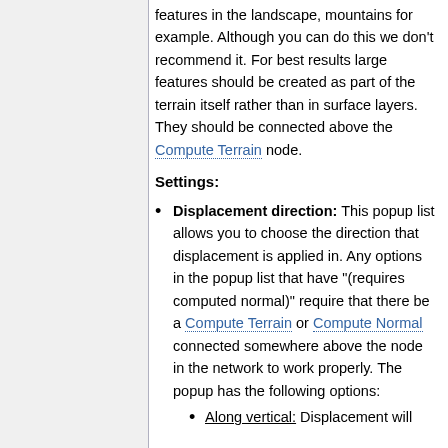features in the landscape, mountains for example. Although you can do this we don't recommend it. For best results large features should be created as part of the terrain itself rather than in surface layers. They should be connected above the Compute Terrain node.
Settings:
Displacement direction: This popup list allows you to choose the direction that displacement is applied in. Any options in the popup list that have "(requires computed normal)" require that there be a Compute Terrain or Compute Normal connected somewhere above the node in the network to work properly. The popup has the following options:
Along vertical: Displacement will...